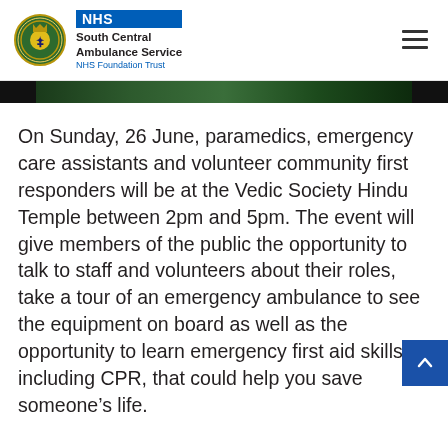NHS South Central Ambulance Service NHS Foundation Trust
[Figure (photo): Partial hero image of ambulance staff in high-visibility jackets, dark cropped strip]
On Sunday, 26 June, paramedics, emergency care assistants and volunteer community first responders will be at the Vedic Society Hindu Temple between 2pm and 5pm. The event will give members of the public the opportunity to talk to staff and volunteers about their roles, take a tour of an emergency ambulance to see the equipment on board as well as the opportunity to learn emergency first aid skills, including CPR, that could help you save someone's life.